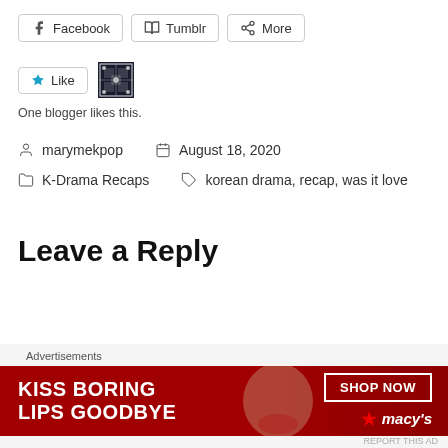Facebook  Tumblr  More
Like  [blogger avatar]  One blogger likes this.
marymekpop   August 18, 2020
K-Drama Recaps   korean drama, recap, was it love
Leave a Reply
[Figure (other): Advertisement banner: KISS BORING LIPS GOODBYE with SHOP NOW button and macys logo]
Advertisements